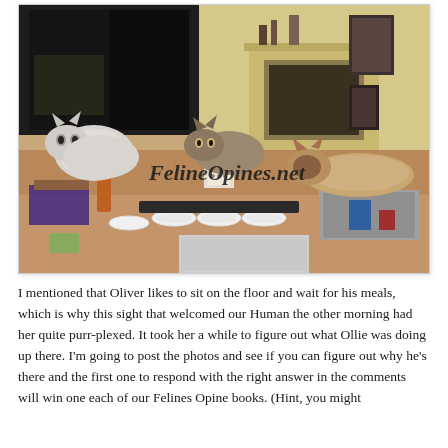[Figure (photo): Photo of three cats on a kitchen counter. The counter has several small white bowls lined up, a kitchen sink with a blue cup, various items including bottles and papers. A watermark reads 'FelineOpines.net'. In the background is a living room with a fireplace and decorative items. Three cats are visible: a fluffy grey/white cat on the left, a medium-colored cat in the middle, and a darker cat lying on the right side of the counter.]
I mentioned that Oliver likes to sit on the floor and wait for his meals, which is why this sight that welcomed our Human the other morning had her quite purr-plexed. It took her a while to figure out what Ollie was doing up there. I'm going to post the photos and see if you can figure out why he's there and the first one to respond with the right answer in the comments will win one each of our Felines Opine books. (Hint, you might